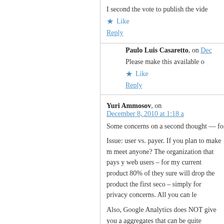I second the vote to publish the vide
Like
Reply
Paulo Luis Casaretto, on Dec
Please make this available o
Like
Reply
Yuri Ammosov, on December 8, 2010 at 1:18 a
Some concerns on a second thought — for
Issue: user vs. payer. If you plan to make m meet anyone? The organization that pays y web users – for my current product 80% of they sure will drop the product the first seco – simply for privacy concerns. All you can le
Also, Google Analytics does NOT give you a aggregates that can be quite detailed but st only drill down to a city level, but not beyon combine 2 metrics in a 2d matrix, there is m